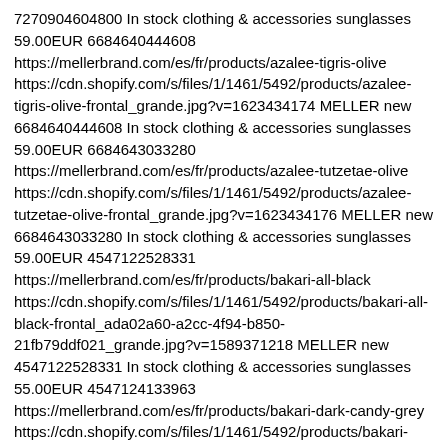7270904604800 In stock clothing & accessories sunglasses 59.00EUR 6684640444608 https://mellerbrand.com/es/fr/products/azalee-tigris-olive https://cdn.shopify.com/s/files/1/1461/5492/products/azalee-tigris-olive-frontal_grande.jpg?v=1623434174 MELLER new 6684640444608 In stock clothing & accessories sunglasses 59.00EUR 6684643033280 https://mellerbrand.com/es/fr/products/azalee-tutzetae-olive https://cdn.shopify.com/s/files/1/1461/5492/products/azalee-tutzetae-olive-frontal_grande.jpg?v=1623434176 MELLER new 6684643033280 In stock clothing & accessories sunglasses 59.00EUR 4547122528331 https://mellerbrand.com/es/fr/products/bakari-all-black https://cdn.shopify.com/s/files/1/1461/5492/products/bakari-all-black-frontal_ada02a60-a2cc-4f94-b850-21fb79ddf021_grande.jpg?v=1589371218 MELLER new 4547122528331 In stock clothing & accessories sunglasses 55.00EUR 4547124133963 https://mellerbrand.com/es/fr/products/bakari-dark-candy-grey https://cdn.shopify.com/s/files/1/1461/5492/products/bakari-dark-candy-grey-frontal_grande.jpg?v=1589371222 MELLER new 4547124133963 In stock clothing & accessories sunglasses 55.00EUR 4547120431179 https://mellerbrand.com/es/fr/products/bakari-tigris-olive https://cdn.shopify.com/s/files/1/1461/5492/products/bakari-tigris-olive-frontal_grande.jpg?v=1589371224 MELLER